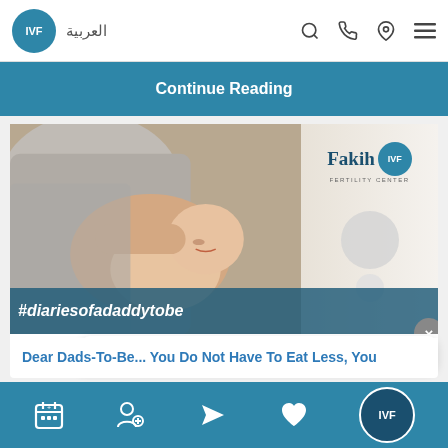IVF | العربية
Continue Reading
[Figure (screenshot): Fakih IVF Fertility Center promotional image showing a man holding a newborn baby, with Fakih IVF logo, hashtag #diariesofadaddytobe overlaid on image, a chat bubble showing time 06:24 AM]
Dear Dads-To-Be... You Do Not Have To Eat Less, You
IVF app bottom navigation bar with calendar, doctor, airplane, heart icons and IVF logo button